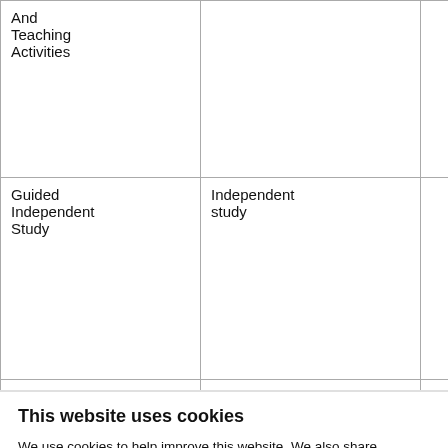|  |  |  |  |  |  |
| --- | --- | --- | --- | --- | --- |
| And Teaching Activities |  |  |  |  | Mi di wi |
| Guided Independent Study | Independent study | 1 | 85:30 | 85:30 | Re re m |
| Guided Independent Study | Independent study | 30 | 1:00 | 30:00 | Ro le up |
| Scheduled | Module talk | 1 | 0:30 | 0:30 | No |
This website uses cookies
We use cookies to help improve this website. We also share information about your use of our site with our social media, advertising and analytics partners. You consent to our cookies if you continue to use our website, in accordance with our cookie policy.
OK
Necessary   Preferences   Statistics   Marketing